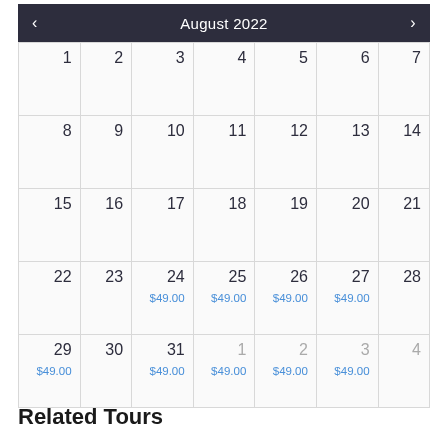|  |  |  |  |  |  |  |
| --- | --- | --- | --- | --- | --- | --- |
| 1 | 2 | 3 | 4 | 5 | 6 | 7 |
| 8 | 9 | 10 | 11 | 12 | 13 | 14 |
| 15 | 16 | 17 | 18 | 19 | 20 | 21 |
| 22 | 23 | 24
$49.00 | 25
$49.00 | 26
$49.00 | 27
$49.00 | 28 |
| 29
$49.00 | 30 | 31
$49.00 | 1
$49.00 | 2
$49.00 | 3
$49.00 | 4 |
Related Tours